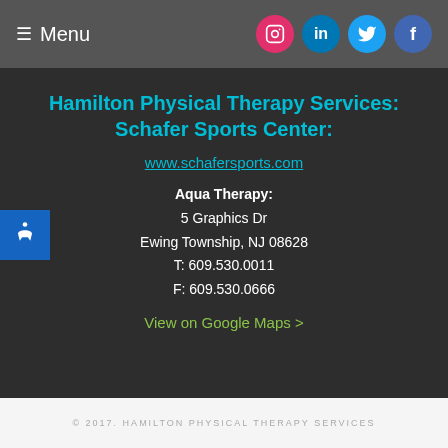≡ Menu | Instagram | LinkedIn | Twitter | Facebook
Hamilton Physical Therapy Services: Schafer Sports Center:
www.schafersports.com
Aqua Therapy:
5 Graphics Dr
Ewing Township, NJ 08628
T: 609.530.0011
F: 609.530.0666
View on Google Maps >
© 2017. HAMILTON PHYSICAL THERAPY SERVICES